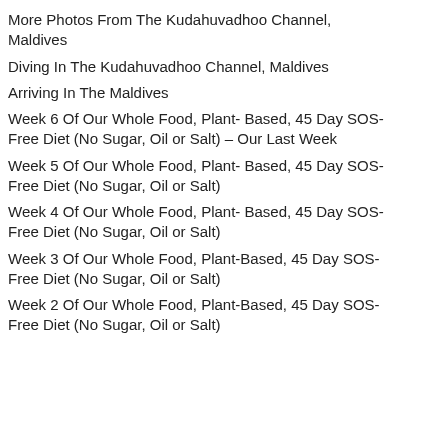More Photos From The Kudahuvadhoo Channel, Maldives
Diving In The Kudahuvadhoo Channel, Maldives
Arriving In The Maldives
Week 6 Of Our Whole Food, Plant- Based, 45 Day SOS-Free Diet (No Sugar, Oil or Salt) – Our Last Week
Week 5 Of Our Whole Food, Plant- Based, 45 Day SOS-Free Diet (No Sugar, Oil or Salt)
Week 4 Of Our Whole Food, Plant- Based, 45 Day SOS-Free Diet (No Sugar, Oil or Salt)
Week 3 Of Our Whole Food, Plant-Based, 45 Day SOS-Free Diet (No Sugar, Oil or Salt)
Week 2 Of Our Whole Food, Plant-Based, 45 Day SOS-Free Diet (No Sugar, Oil or Salt)